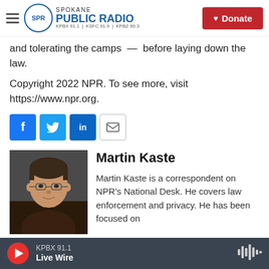Spokane Public Radio — KPBX 91.1 | KSFC 91.9 | KPBZ 90.3
and tolerating the camps — before laying down the law.
Copyright 2022 NPR. To see more, visit https://www.npr.org.
[Figure (infographic): Social sharing buttons: Facebook, Twitter, LinkedIn, Email]
[Figure (photo): Headshot photo of Martin Kaste, a man wearing glasses and a dark jacket]
Martin Kaste
Martin Kaste is a correspondent on NPR's National Desk. He covers law enforcement and privacy. He has been focused on
KPBX 91.1 Live Wire